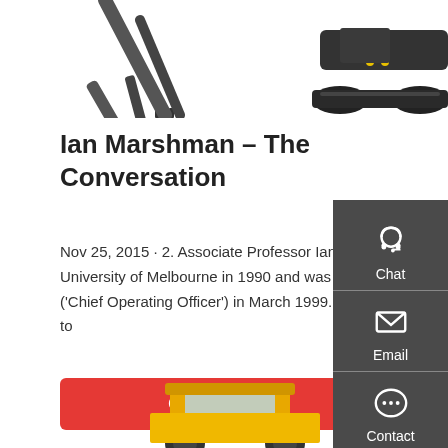[Figure (photo): Two construction/excavator machines shown at the top of the page, partially cropped]
Ian Marshman – The Conversation
Nov 25, 2015 · 2. Associate Professor Ian Marshman joined the University of Melbourne in 1990 and was appointed Senior Vice-Principal ('Chief Operating Officer') in March 1999. In that role he was accountable to
[Figure (other): Red 'Get a quote' button]
[Figure (other): Right sidebar with dark background showing Chat, Email, and Contact icons]
[Figure (photo): Construction machine (backhoe loader) shown at the bottom of the page, partially cropped]